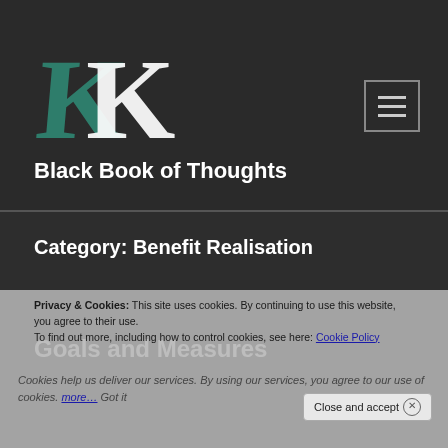[Figure (logo): Black Book of Thoughts logo — stylized K letterform in teal/green and white on dark background]
Black Book of Thoughts
Category: Benefit Realisation
Goals and Measures
Privacy & Cookies: This site uses cookies. By continuing to use this website, you agree to their use. To find out more, including how to control cookies, see here: Cookie Policy
Cookies help us deliver our services. By using our services, you agree to our use of cookies. — more… Got it